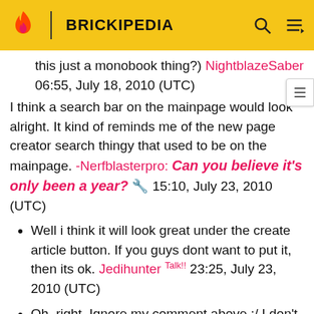BRICKIPEDIA
this just a monobook thing?) NightblazeSaber 06:55, July 18, 2010 (UTC)
I think a search bar on the mainpage would look alright. It kind of reminds me of the new page creator search thingy that used to be on the mainpage. -Nerfblasterpro: Can you believe it's only been a year? 🔧 15:10, July 23, 2010 (UTC)
Well i think it will look great under the create article button. If you guys dont want to put it, then its ok. Jedihunter Talk!! 23:25, July 23, 2010 (UTC)
Oh, right. Ignore my comment above :/ I don't mind either way NightblazeSaber 00:08, July 24, 2010 (UTC)
um the page is locked. so maybe u can do it?